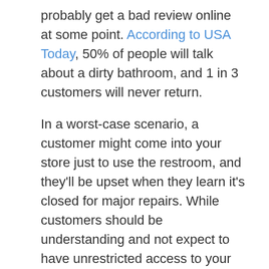probably get a bad review online at some point. According to USA Today, 50% of people will talk about a dirty bathroom, and 1 in 3 customers will never return.
In a worst-case scenario, a customer might come into your store just to use the restroom, and they'll be upset when they learn it's closed for major repairs. While customers should be understanding and not expect to have unrestricted access to your restroom, it's still a major disappointment.
4. Your cash register and POS system